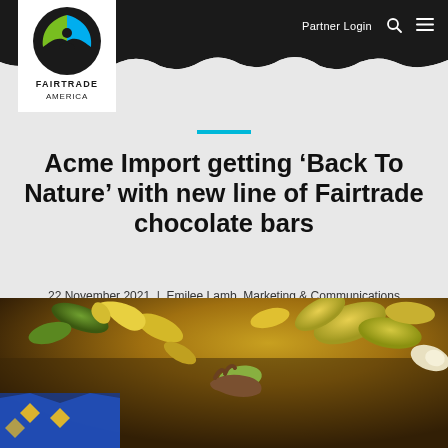Partner Login
[Figure (logo): Fairtrade America logo — circular emblem with blue and green design, text FAIRTRADE AMERICA below]
Acme Import getting ‘Back To Nature’ with new line of Fairtrade chocolate bars
22 November 2021 | Emilee Lamb, Marketing & Communications Coordinator
[Figure (photo): Close-up photograph of cacao pods and tropical fruits on a dark wooden surface, person holding a green cacao pod, colourful fabric visible in foreground]